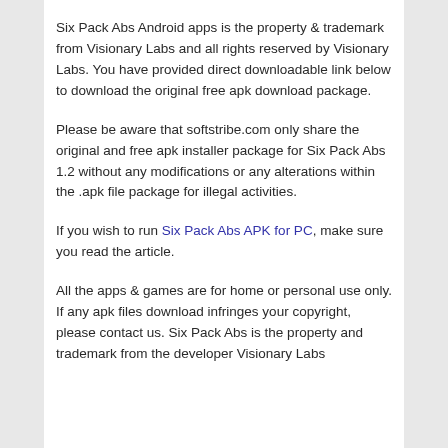Six Pack Abs Android apps is the property & trademark from Visionary Labs and all rights reserved by Visionary Labs. You have provided direct downloadable link below to download the original free apk download package.
Please be aware that softstribe.com only share the original and free apk installer package for Six Pack Abs 1.2 without any modifications or any alterations within the .apk file package for illegal activities.
If you wish to run Six Pack Abs APK for PC, make sure you read the article.
All the apps & games are for home or personal use only. If any apk files download infringes your copyright, please contact us. Six Pack Abs is the property and trademark from the developer Visionary Labs